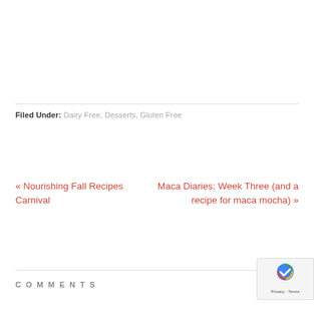Filed Under: Dairy Free, Desserts, Gluten Free
« Nourishing Fall Recipes Carnival
Maca Diaries: Week Three (and a recipe for maca mocha) »
COMMENTS